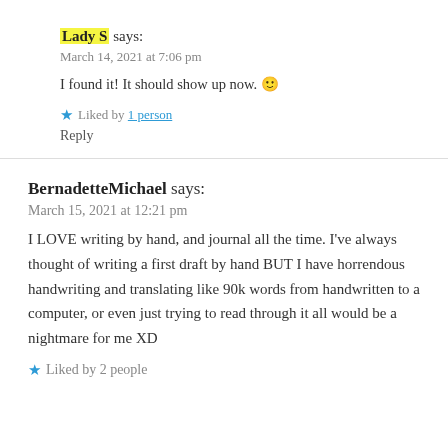Lady S says:
March 14, 2021 at 7:06 pm
I found it! It should show up now. 🙂
★ Liked by 1 person
Reply
BernadetteMichael says:
March 15, 2021 at 12:21 pm
I LOVE writing by hand, and journal all the time. I've always thought of writing a first draft by hand BUT I have horrendous handwriting and translating like 90k words from handwritten to a computer, or even just trying to read through it all would be a nightmare for me XD
★ Liked by 2 people